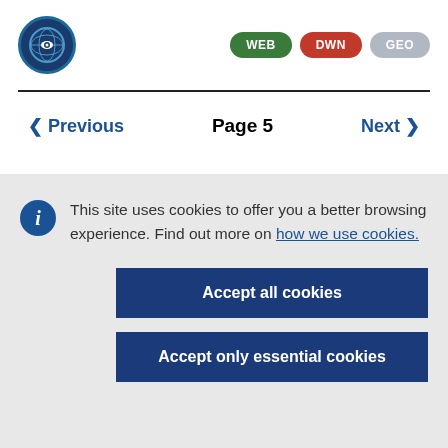[Figure (logo): Blue circular logo with an eye and globe icon, representing a government/EU web portal]
[Figure (infographic): Three navigation badges: WEB (green), DWN (red), GEO (grey)]
< Previous   Page 5   Next >
This site uses cookies to offer you a better browsing experience. Find out more on how we use cookies.
Accept all cookies
Accept only essential cookies